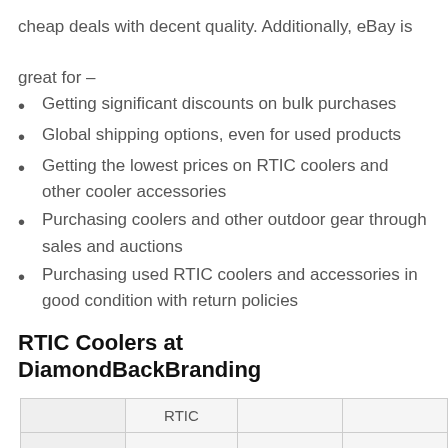cheap deals with decent quality. Additionally, eBay is great for –
Getting significant discounts on bulk purchases
Global shipping options, even for used products
Getting the lowest prices on RTIC coolers and other cooler accessories
Purchasing coolers and other outdoor gear through sales and auctions
Purchasing used RTIC coolers and accessories in good condition with return policies
RTIC Coolers at DiamondBackBranding
|  | RTIC |  |  |
| --- | --- | --- | --- |